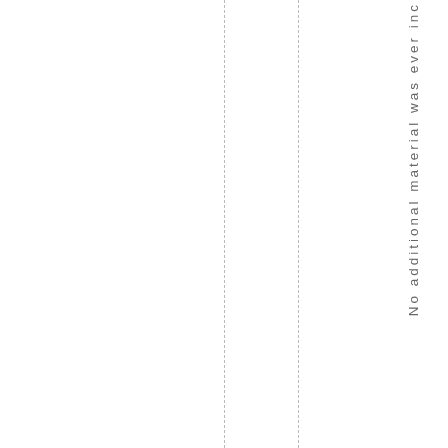No additional material was ever inc